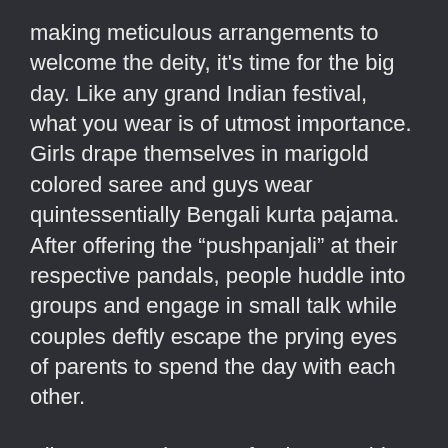making meticulous arrangements to welcome the deity, it's time for the big day. Like any grand Indian festival, what you wear is of utmost importance. Girls drape themselves in marigold colored saree and guys wear quintessentially Bengali kurta pajama. After offering the “pushpanjali” at their respective pandals, people huddle into groups and engage in small talk while couples deftly escape the prying eyes of parents to spend the day with each other.
All transgressions are forgiven on this day because Maa is ever magnanimous.  The idea of ‘date’ is usually incomplete without good food, and Bongs who are all so well known for their culinary abilities aka obsessions, can never seem to get enough of their gastronomic experiences. The usual menu consists of Khichdi, mixed vegetable curry, fried veggies, sweets, etc. The pocket money heavy lot, however, skip the routine delicacies and